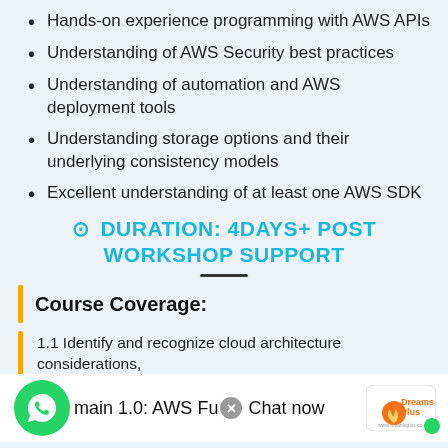Hands-on experience programming with AWS APIs
Understanding of AWS Security best practices
Understanding of automation and AWS deployment tools
Understanding storage options and their underlying consistency models
Excellent understanding of at least one AWS SDK
⊙ DURATION: 4DAYS+ POST WORKSHOP SUPPORT
Course Coverage:
Domain 1.0: AWS Fu...d
1.1 Identify and recognize cloud architecture considerations,